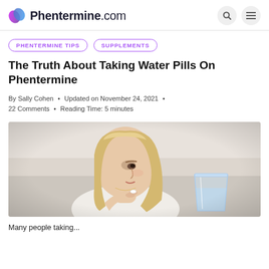Phentermine.com
PHENTERMINE TIPS • SUPPLEMENTS
The Truth About Taking Water Pills On Phentermine
By Sally Cohen • Updated on November 24, 2021 • 22 Comments • Reading Time: 5 minutes
[Figure (photo): A blonde woman looking down at a pill she is holding between her fingers, holding a glass of water in her other hand, seated on a light-colored couch.]
Many people taking...